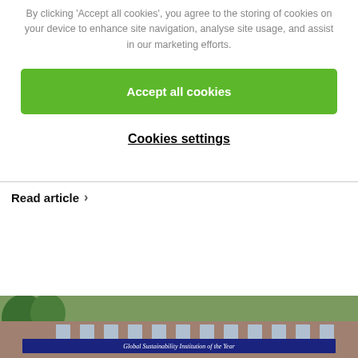By clicking 'Accept all cookies', you agree to the storing of cookies on your device to enhance site navigation, analyse site usage, and assist in our marketing efforts.
Accept all cookies
Cookies settings
Read article
[Figure (photo): Exterior photo of a building with a blue banner reading 'Global Sustainability Institution of the Year']